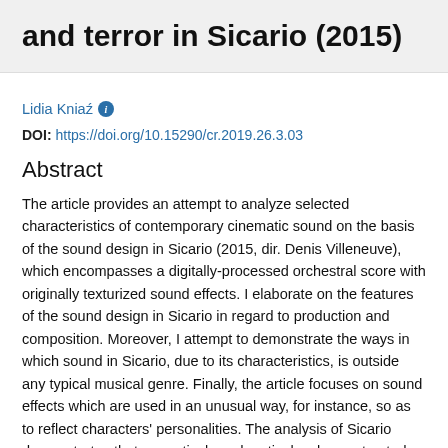and terror in Sicario (2015)
Lidia Kniaź
DOI: https://doi.org/10.15290/cr.2019.26.3.03
Abstract
The article provides an attempt to analyze selected characteristics of contemporary cinematic sound on the basis of the sound design in Sicario (2015, dir. Denis Villeneuve), which encompasses a digitally-processed orchestral score with originally texturized sound effects. I elaborate on the features of the sound design in Sicario in regard to production and composition. Moreover, I attempt to demonstrate the ways in which sound in Sicario, due to its characteristics, is outside any typical musical genre. Finally, the article focuses on sound effects which are used in an unusual way, for instance, so as to reflect characters' personalities. The analysis of Sicario demonstrates that a creatively and meticulously constructed sound design in